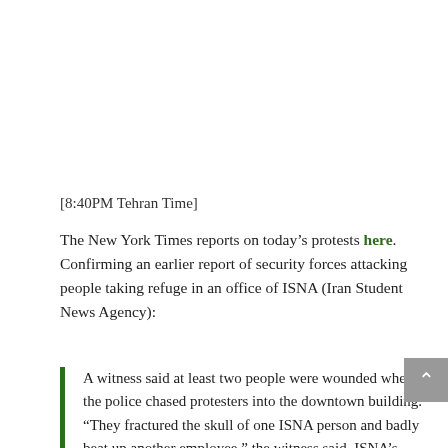[8:40PM Tehran Time]
The New York Times reports on today’s protests here. Confirming an earlier report of security forces attacking people taking refuge in an office of ISNA (Iran Student News Agency):
A witness said at least two people were wounded when the police chased protesters into the downtown building. “They fractured the skull of one ISNA person and badly beat up another employee,” the witness said. ISNA’s news service appeared to be working normally, and its reports made no